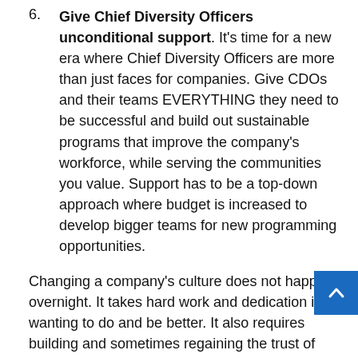6. Give Chief Diversity Officers unconditional support. It’s time for a new era where Chief Diversity Officers are more than just faces for companies. Give CDOs and their teams EVERYTHING they need to be successful and build out sustainable programs that improve the company’s workforce, while serving the communities you value. Support has to be a top-down approach where budget is increased to develop bigger teams for new programming opportunities.
Changing a company’s culture does not happen overnight. It takes hard work and dedication in wanting to do and be better. It also requires building and sometimes regaining the trust of communities that have been marginalized.
From Google to Pinterest, this year has shown us that injustice will always make it onto a spotlight because Black...